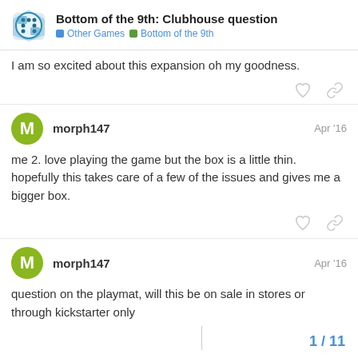Bottom of the 9th: Clubhouse question | Other Games | Bottom of the 9th
I am so excited about this expansion oh my goodness.
morph147  Apr '16
me 2. love playing the game but the box is a little thin. hopefully this takes care of a few of the issues and gives me a bigger box.
morph147  Apr '16
question on the playmat, will this be on sale in stores or through kickstarter only
1 / 11